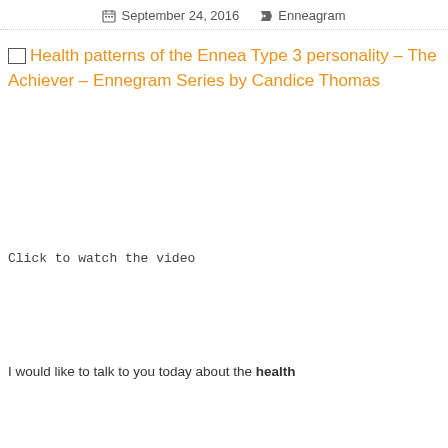September 24, 2016   Enneagram
[Figure (illustration): Broken image placeholder with alt text: Health patterns of the Ennea Type 3 personality - The Achiever - Ennegram Series by Candice Thomas]
Click to watch the video
I would like to talk to you today about the health